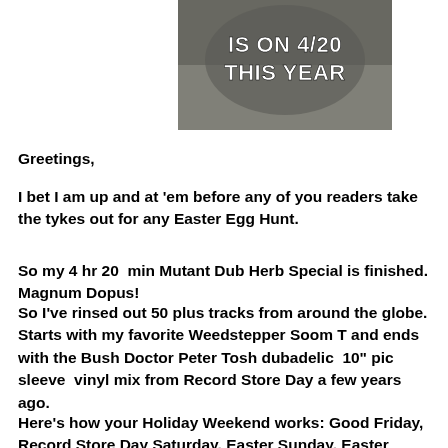[Figure (photo): Meme image of a cat with white bold text reading 'IS ON 4/20 THIS YEAR']
Greetings,
I bet I am up and at 'em before any of you readers take the tykes out for any Easter Egg Hunt.
So my 4 hr 20  min Mutant Dub Herb Special is finished. Magnum Dopus!
So I've rinsed out 50 plus tracks from around the globe. Starts with my favorite Weedstepper Soom T and ends with the Bush Doctor Peter Tosh dubadelic  10" pic sleeve  vinyl mix from Record Store Day a few years ago.
Here's how your Holiday Weekend works: Good Friday, Record Store Day Saturday, Easter Sunday, Easter